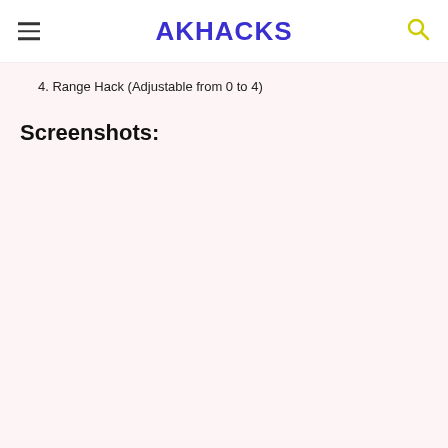AKHACKS
4. Range Hack (Adjustable from 0 to 4)
Screenshots: